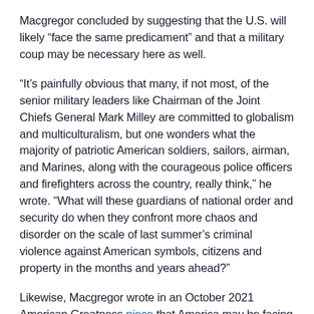Macgregor concluded by suggesting that the U.S. will likely “face the same predicament” and that a military coup may be necessary here as well.
“It’s painfully obvious that many, if not most, of the senior military leaders like Chairman of the Joint Chiefs General Mark Milley are committed to globalism and multiculturalism, but one wonders what the majority of patriotic American soldiers, sailors, airman, and Marines, along with the courageous police officers and firefighters across the country, really think,” he wrote. “What will these guardians of national order and security do when they confront more chaos and disorder on the scale of last summer’s criminal violence against American symbols, citizens and property in the months and years ahead?”
Likewise, Macgregor wrote in an October 2021 American Greatness piece that America may be facing a “John Brown moment” that could lead to a Civil War. He argued that...